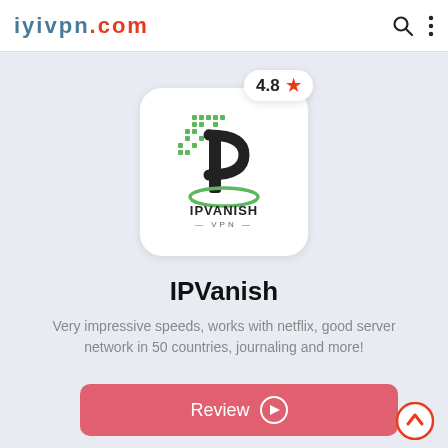iyivpn.com
[Figure (logo): IPVanish VPN logo — green dotted pixel pattern icon, bold black IP letterform, green oval underline, text IPVANISH VPN below]
IPVanish
Very impressive speeds, works with netflix, good server network in 50 countries, journaling and more!
Review →